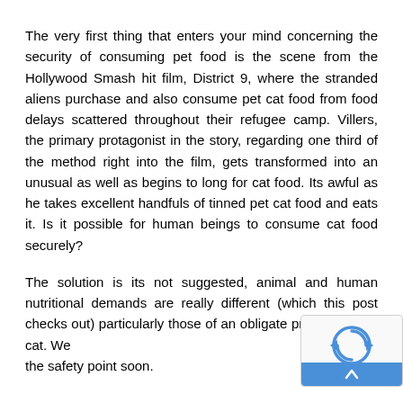The very first thing that enters your mind concerning the security of consuming pet food is the scene from the Hollywood Smash hit film, District 9, where the stranded aliens purchase and also consume pet cat food from food delays scattered throughout their refugee camp. Villers, the primary protagonist in the story, regarding one third of the method right into the film, gets transformed into an unusual as well as begins to long for cat food. Its awful as he takes excellent handfuls of tinned pet cat food and eats it. Is it possible for human beings to consume cat food securely?
The solution is its not suggested, animal and human nutritional demands are really different (which this post checks out) particularly those of an obligate predator like a cat. We the safety point soon.